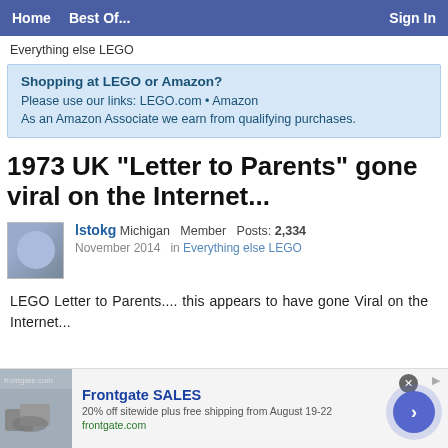Home   Best Of...   Sign In
Everything else LEGO
Shopping at LEGO or Amazon?
Please use our links: LEGO.com • Amazon
As an Amazon Associate we earn from qualifying purchases.
1973 UK "Letter to Parents" gone viral on the Internet...
lstokg   Michigan   Member   Posts: 2,334
November 2014   in Everything else LEGO
LEGO Letter to Parents.... this appears to have gone Viral on the Internet...
[Figure (screenshot): Advertisement for Frontgate SALES: 20% off sitewide plus free shipping from August 19-22, frontgate.com, with outdoor furniture image and blue CTA button]